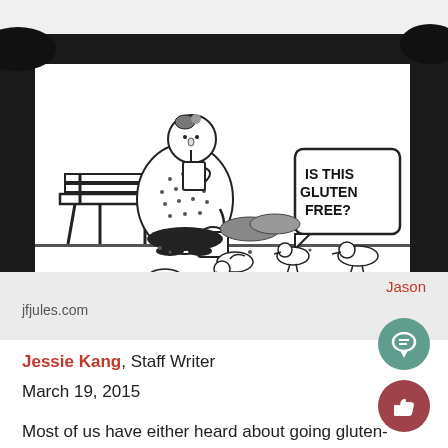[Figure (illustration): Black and white cartoon showing an elderly woman sitting on a park bench feeding birds. She holds a bag and is leaning forward. A speech bubble reads 'IS THIS GLUTEN FREE?' A pigeon/bird stands nearby. Trees in background.]
Jason
jfjules.com
Jessie Kang, Staff Writer
March 19, 2015
Most of us have either heard about going gluten-